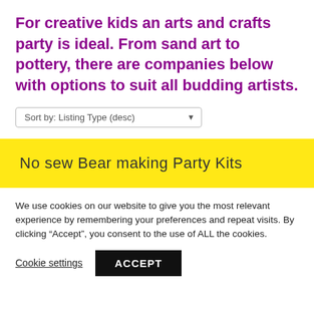For creative kids an arts and crafts party is ideal. From sand art to pottery, there are companies below with options to suit all budding artists.
Sort by: Listing Type (desc)
No sew Bear making Party Kits
We use cookies on our website to give you the most relevant experience by remembering your preferences and repeat visits. By clicking “Accept”, you consent to the use of ALL the cookies.
Cookie settings
ACCEPT